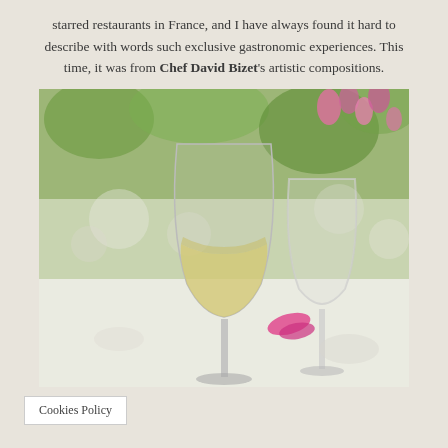starred restaurants in France, and I have always found it hard to describe with words such exclusive gastronomic experiences. This time, it was from Chef David Bizet's artistic compositions.
[Figure (photo): Close-up photograph of wine glasses on a table set for a fine dining experience outdoors, with white wine in the foreground glass and pink flowers blurred in the background.]
Cookies Policy